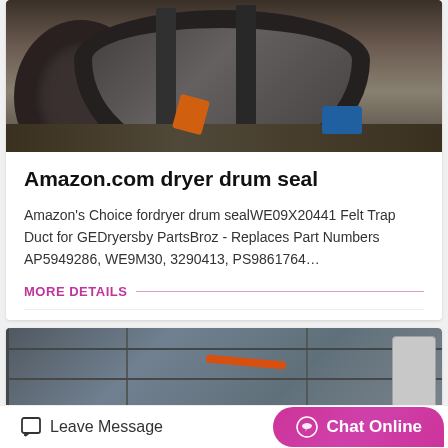[Figure (photo): Industrial rotary drum/cylinder in a factory/workshop setting, with metal drum on supports, orange equipment and blue components visible]
Amazon.com dryer drum seal
Amazon's Choice fordryer drum sealWE09X20441 Felt Trap Duct for GEDryersby PartsBroz - Replaces Part Numbers AP5949286, WE9M30, 3290413, PS9861764…
MORE DETAILS
[Figure (photo): Industrial factory/warehouse interior with structural beams, orange cables/hoses visible]
Leave Message
Chat Online